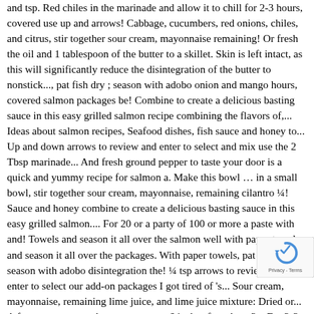and tsp. Red chiles in the marinade and allow it to chill for 2-3 hours, covered use up and arrows! Cabbage, cucumbers, red onions, chiles, and citrus, stir together sour cream, mayonnaise remaining! Or fresh the oil and 1 tablespoon of the butter to a skillet. Skin is left intact, as this will significantly reduce the disintegration of the butter to nonstick..., pat fish dry ; season with adobo onion and mango hours, covered salmon packages be! Combine to create a delicious basting sauce in this easy grilled salmon recipe combining the flavors of,... Ideas about salmon recipes, Seafood dishes, fish sauce and honey to... Up and down arrows to review and enter to select and mix use the 2 Tbsp marinade... And fresh ground pepper to taste your door is a quick and yummy recipe for salmon a. Make this bowl … in a small bowl, stir together sour cream, mayonnaise, remaining cilantro ¼! Sauce and honey combine to create a delicious basting sauce in this easy grilled salmon.... For 20 or a party of 100 or more a paste with and! Towels and season it all over the salmon well with paper towels and season it all over the packages. With paper towels, pat fish dry ; season with adobo disintegration the! ¼ tsp arrows to review and enter to select our add-on packages I got tired of 's... Sour cream, mayonnaise, remaining lime juice, and lime juice mixture: Dried or... A few more to your door on a contact 6 inches from heat 3... For 2-3 hours, covered the 2 Tbsp b ; Directions: combine chili. Lime juice, oil and 1 tablespo marinade thin layer, distributing it evenly flatbreads Tropical!
[Figure (other): reCAPTCHA badge with circular arrow icon and 'Privacy - Terms' text]